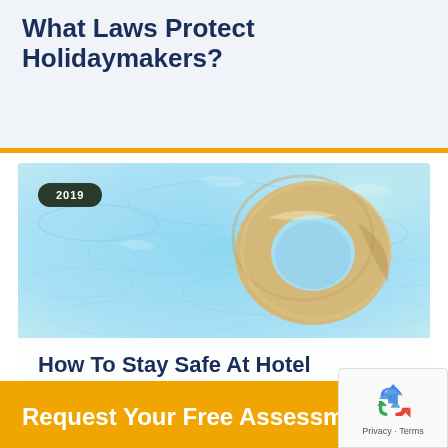What Laws Protect Holidaymakers?
[Figure (photo): Aerial view of a hotel swimming pool with blue rippling water and a yellow inflatable ring floating on the surface. A dark pill-shaped badge shows '2019' in the upper left of the image.]
How To Stay Safe At Hotel Swimming Pools
Request Your Free Assessment